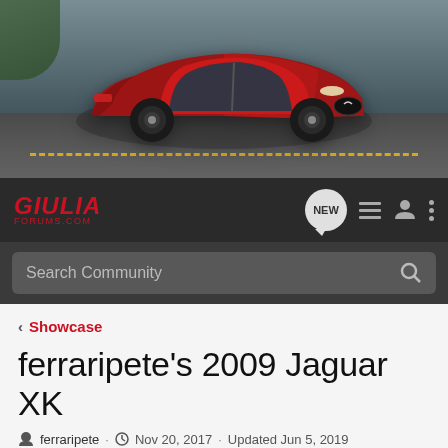[Figure (photo): Red Alfa Romeo Giulia Quadrifoglio on a road, banner image]
GIULIA FORUMS.COM navigation bar with logo, NEW bubble, list icon, user icon, and menu icon
Search Community
< Showcase
ferraripete's 2009 Jaguar XK
ferraripete · Nov 20, 2017 · Updated Jun 5, 2019
+ Follow